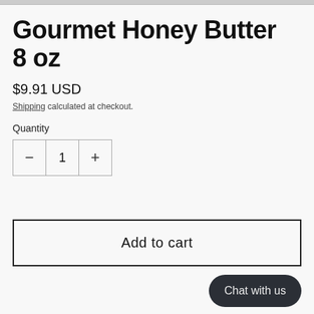Gourmet Honey Butter 8 oz
$9.91 USD
Shipping calculated at checkout.
Quantity
− 1 +
Add to cart
Chat with us